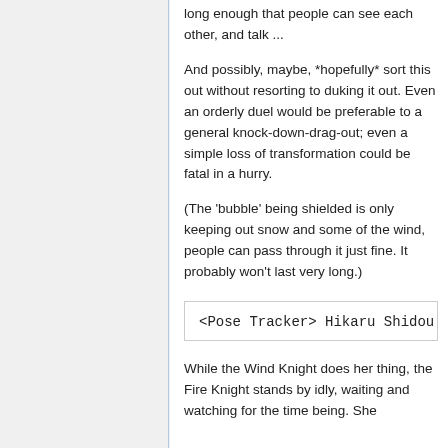long enough that people can see each other, and talk ...
And possibly, maybe, *hopefully* sort this out without resorting to duking it out. Even an orderly duel would be preferable to a general knock-down-drag-out; even a simple loss of transformation could be fatal in a hurry.
(The 'bubble' being shielded is only keeping out snow and some of the wind, people can pass through it just fine. It probably won't last very long.)
<Pose Tracker> Hikaru Shidou [J
While the Wind Knight does her thing, the Fire Knight stands by idly, waiting and watching for the time being. She